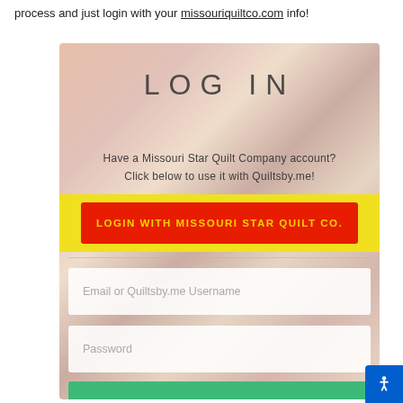process and just login with your missouriquiltco.com info!
[Figure (screenshot): Login form for Quiltsby.me with decorative quilt background. Contains LOG IN heading, text about Missouri Star Quilt Company account, a red button labeled LOGIN WITH MISSOURI STAR QUILT CO., email/username input field, password input field, and a green LOG IN button.]
Have a Missouri Star Quilt Company account? Click below to use it with Quiltsby.me!
LOGIN WITH MISSOURI STAR QUILT CO.
Email or Quiltsby.me Username
Password
LOG IN